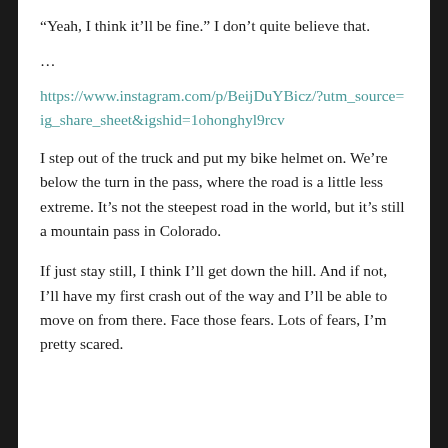“Yeah, I think it’ll be fine.” I don’t quite believe that.
…
https://www.instagram.com/p/BeijDuYBicz/?utm_source=ig_share_sheet&igshid=1ohonghyl9rcv
I step out of the truck and put my bike helmet on. We’re below the turn in the pass, where the road is a little less extreme. It’s not the steepest road in the world, but it’s still a mountain pass in Colorado.
If just stay still, I think I’ll get down the hill. And if not, I’ll have my first crash out of the way and I’ll be able to move on from there. Face those fears. Lots of fears, I’m pretty scared.